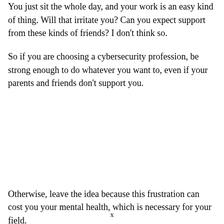You just sit the whole day, and your work is an easy kind of thing. Will that irritate you? Can you expect support from these kinds of friends? I don't think so.
So if you are choosing a cybersecurity profession, be strong enough to do whatever you want to, even if your parents and friends don't support you.
Otherwise, leave the idea because this frustration can cost you your mental health, which is necessary for your field.
x